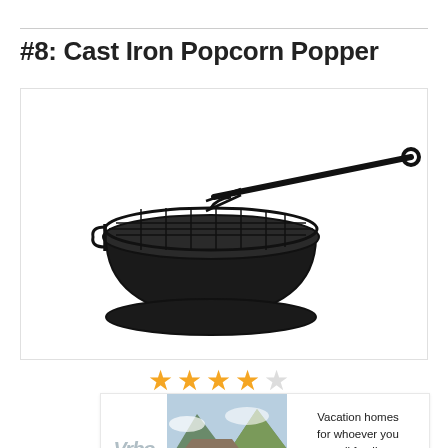#8: Cast Iron Popcorn Popper
[Figure (photo): A cast iron popcorn popper with a long metal handle ending in a loop, featuring a round deep pan with a wire grid lid on top, all black.]
[Figure (other): Star rating display: 4 out of 5 stars (4 filled gold stars, 1 empty/grey star)]
[Figure (other): Vrbo advertisement banner showing vacation homes with mountain backdrop, text: 'Vacation homes for whoever you call family', with a 'find yours' button.]